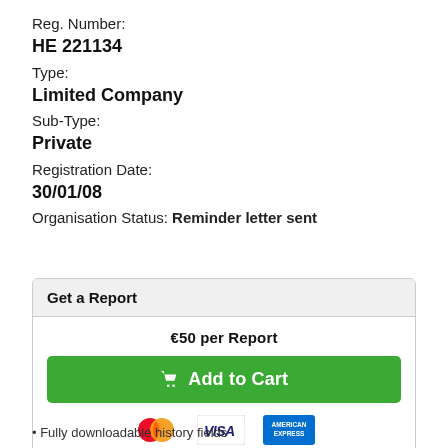Reg. Number:
HE 221134
Type:
Limited Company
Sub-Type:
Private
Registration Date:
30/01/08
Organisation Status: Reminder letter sent
Get a Report
€50 per Report
Add to Cart
[Figure (other): Payment method icons: Mastercard, Visa, American Express, Discover, Diners Club, JCB]
• Fully downloadable history fields